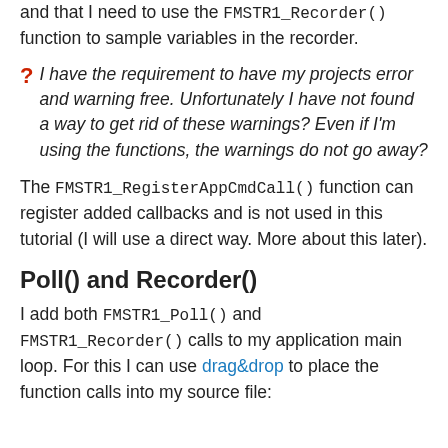and that I need to use the FMSTR1_Recorder() function to sample variables in the recorder.
? I have the requirement to have my projects error and warning free. Unfortunately I have not found a way to get rid of these warnings? Even if I'm using the functions, the warnings do not go away?
The FMSTR1_RegisterAppCmdCall() function can register added callbacks and is not used in this tutorial (I will use a direct way. More about this later).
Poll() and Recorder()
I add both FMSTR1_Poll() and FMSTR1_Recorder() calls to my application main loop. For this I can use drag&drop to place the function calls into my source file: